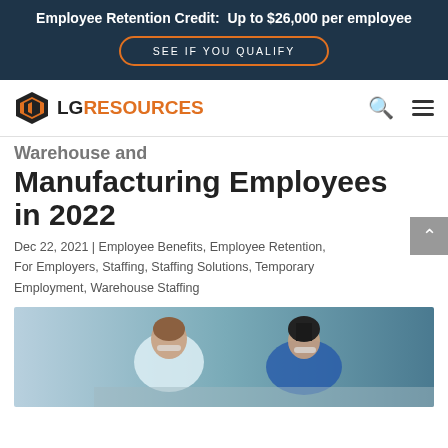Employee Retention Credit:  Up to $26,000 per employee
SEE IF YOU QUALIFY
[Figure (logo): LG Resources logo with orange diamond G icon and text LG RESOURCES]
Warehouse and Manufacturing Employees in 2022
Dec 22, 2021 | Employee Benefits, Employee Retention, For Employers, Staffing, Staffing Solutions, Temporary Employment, Warehouse Staffing
[Figure (photo): Two warehouse/manufacturing workers wearing safety glasses, leaning over work surface in a blue-lit industrial environment]